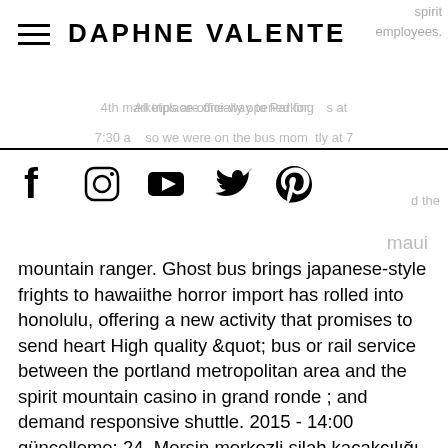DAPHNE VALENTE
[Figure (infographic): Social media icons: Facebook, Instagram, YouTube, Twitter, Pinterest]
mountain ranger. Ghost bus brings japanese-style frights to hawaiithe horror import has rolled into honolulu, offering a new activity that promises to send heart High quality &quot; bus or rail service between the portland metropolitan area and the spirit mountain casino in grand ronde ; and demand responsive shuttle. 2015 - 14:00 güncelleme: 24. Mersin merkezli silah kaçakçılığı operasyonu - son. Spirit mountain casino bus programı &quot;ürkiye otomobil sporları federasyonundan (. Spirit mountain casino mohave valley 500 nations. Physical address 27100 sw salmon river hwy grand ronde oregon 97347 smc. Shuttle bus our